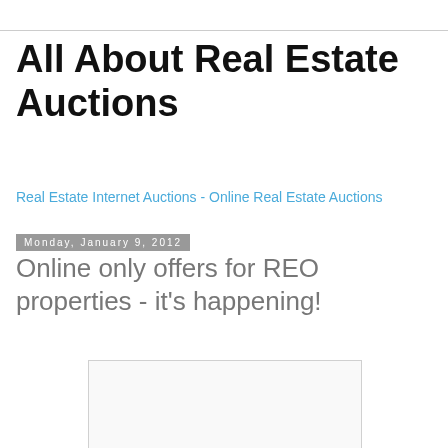All About Real Estate Auctions
Real Estate Internet Auctions - Online Real Estate Auctions
Monday, January 9, 2012
Online only offers for REO properties - it's happening!
[Figure (other): Empty image placeholder box with light grey border]